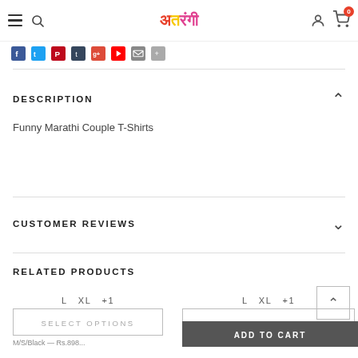Atrangi (logo) — Navigation bar with hamburger, search, user, cart
[Figure (screenshot): Social media icons row: Facebook, Twitter, Pinterest, Tumblr, Google+, YouTube, Email, Share]
DESCRIPTION
Funny Marathi Couple T-Shirts
CUSTOMER REVIEWS
RELATED PRODUCTS
L  XL  +1   SELECT OPTIONS   M/S/Black — Rs.898...
L  XL  +1   SELECT OPTIONS   My...  ADD TO CART  My